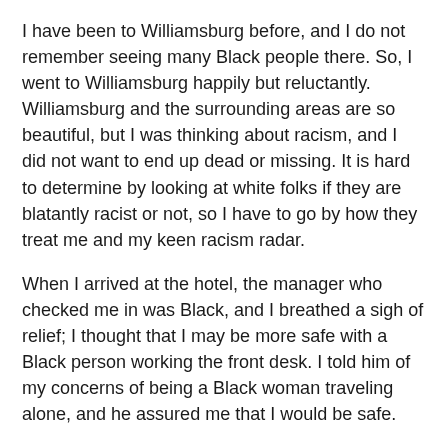I have been to Williamsburg before, and I do not remember seeing many Black people there. So, I went to Williamsburg happily but reluctantly. Williamsburg and the surrounding areas are so beautiful, but I was thinking about racism, and I did not want to end up dead or missing. It is hard to determine by looking at white folks if they are blatantly racist or not, so I have to go by how they treat me and my keen racism radar.
When I arrived at the hotel, the manager who checked me in was Black, and I breathed a sigh of relief; I thought that I may be more safe with a Black person working the front desk. I told him of my concerns of being a Black woman traveling alone, and he assured me that I would be safe.
I also asked the manager about cycling in Williamsburg, and he assured me that I had nothing to worry about. I had never cycled in Williamsburg before and definitely never alone. Throughout breakfast I was thinking about cycling while Black, alone, in the backwoods of Virginia. I thought about what my sister, Tracy, states often: "Brave women do it afraid." So, I got on my bike and headed out to explore.